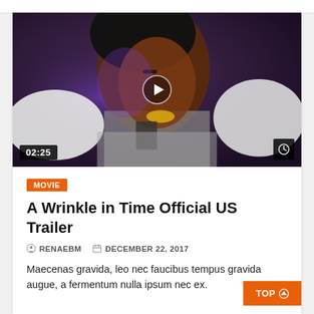[Figure (photo): Video thumbnail showing a fashion model with dark skin, yellow lipstick, afro hair with dark hat, white fur collar, wearing a silver/grey fringed outfit. Play button overlay in center. Time badge '02:25' at bottom left, clock icon badge at bottom right.]
MOVIE
A Wrinkle in Time Official US Trailer
RENAEBM   DECEMBER 22, 2017
Maecenas gravida, leo nec faucibus tempus gravida augue, a fermentum nulla ipsum nec ex.